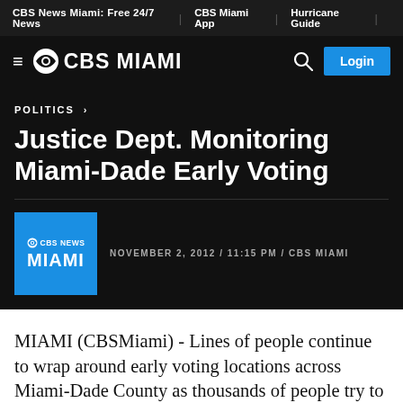CBS News Miami: Free 24/7 News | CBS Miami App | Hurricane Guide
CBS MIAMI — Login
POLITICS ›
Justice Dept. Monitoring Miami-Dade Early Voting
NOVEMBER 2, 2012 / 11:15 PM / CBS MIAMI
MIAMI (CBSMiami) - Lines of people continue to wrap around early voting locations across Miami-Dade County as thousands of people try to cast their